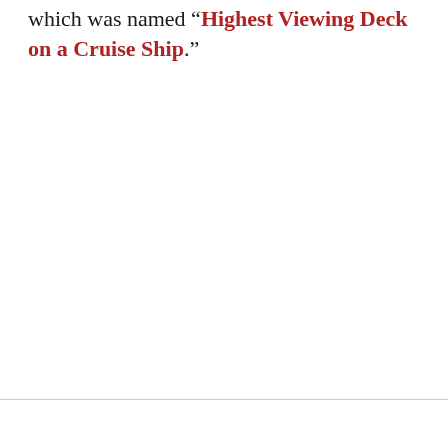which was named “Highest Viewing Deck on a Cruise Ship.”